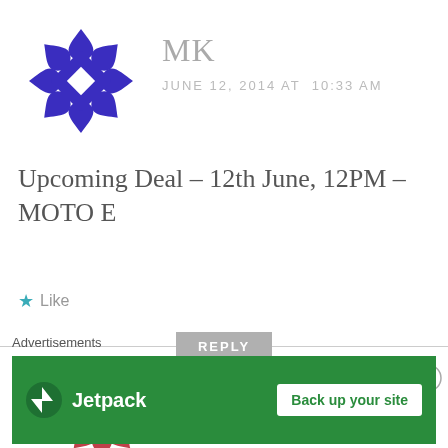[Figure (illustration): Blue/purple geometric avatar icon for user MK]
MK
JUNE 12, 2014 AT  10:33 AM
Upcoming Deal – 12th June, 12PM – MOTO E
Like
REPLY
[Figure (illustration): Red/pink geometric avatar icon for user nirajk42]
nirajk42
JUNE 12, 2014 AT  10:42
Advertisements
[Figure (screenshot): Jetpack advertisement banner with Back up your site CTA]